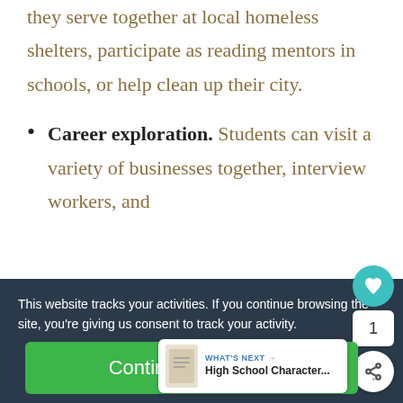they serve together at local homeless shelters, participate as reading mentors in schools, or help clean up their city.
Career exploration. Students can visit a variety of businesses together, interview workers, and
This website tracks your activities. If you continue browsing the site, you're giving us consent to track your activity.
Continue Browsing